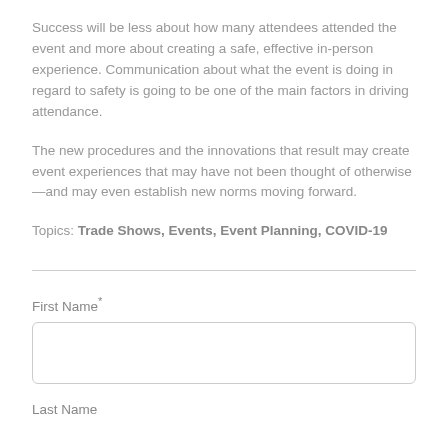Success will be less about how many attendees attended the event and more about creating a safe, effective in-person experience. Communication about what the event is doing in regard to safety is going to be one of the main factors in driving attendance.
The new procedures and the innovations that result may create event experiences that may have not been thought of otherwise—and may even establish new norms moving forward.
Topics: Trade Shows, Events, Event Planning, COVID-19
First Name*
Last Name